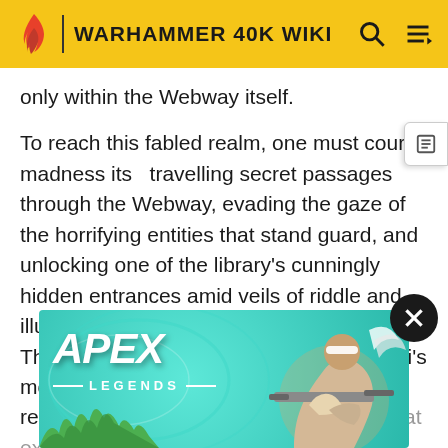WARHAMMER 40K WIKI
only within the Webway itself.
To reach this fabled realm, one must court madness itself, travelling secret passages through the Webway, evading the gaze of the horrifying entities that stand guard, and unlocking one of the library's cunningly hidden entrances amid veils of riddle and illusion.
The Black Library houses all of the Aeldari's most precious knowledge, and is said to resemble a vast, impossible Craftworld that exists only within the Labyrinth Dimension of the Webway. Every deadly encounter... the fate of the forsaken Phoenix Lord Arhra, even the
[Figure (screenshot): Apex Legends advertisement banner showing the game logo and a character with a sniper rifle against a teal background]